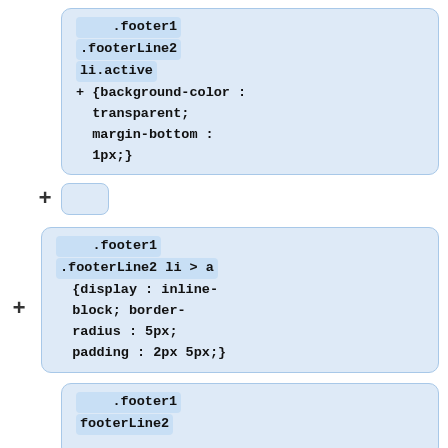[Figure (flowchart): A vertical flowchart showing CSS code blocks connected by plus signs. First block contains: .footer1 .footerLine2 li.active + {background-color: transparent; margin-bottom: 1px;}. Second row shows a plus sign with a small empty blue box. Third block contains: .footer1 .footerLine2 li > a {display: inline-block; border-radius: 5px; padding: 2px 5px;}. Fourth block (partial) contains: .footer1 footerLine2]